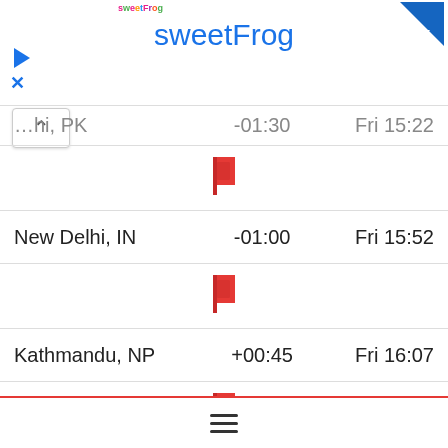[Figure (screenshot): sweetFrog advertisement banner at top of page with logo, play and close icons, and blue arrow button]
| City | Offset | Time |
| --- | --- | --- |
| …hi, PK | -01:30 | Fri 15:22 |
| New Delhi, IN | -01:00 | Fri 15:52 |
| Kathmandu, NP | +00:45 | Fri 16:07 |
| Dhaka, BD | +00:30 | Fri 16:22 |
| Jakarta, ID | +00:30 | Fri 17:22 |